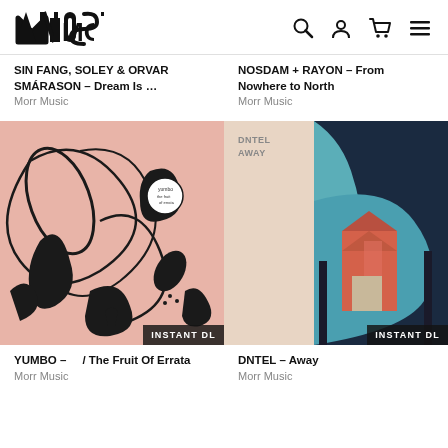MOST — logo with search, user, cart, menu icons
SIN FANG, SOLEY & ORVAR SMÁRASON – Dream Is ...
Morr Music
NOSDAM + RAYON – From Nowhere to North
Morr Music
[Figure (photo): Album cover for YUMBO – The Fruit Of Errata. Pink background with black ink illustrations of figures, animals, and abstract shapes. 'INSTANT DL' badge in bottom right.]
[Figure (photo): Album cover for DNTEL – Away. Left side has 'DNTEL AWAY' text on pale pink background, right side shows geometric abstract art with teal, dark navy, and coral/orange shapes. 'INSTANT DL' badge in bottom right.]
YUMBO – / The Fruit Of Errata
Morr Music
DNTEL – Away
Morr Music